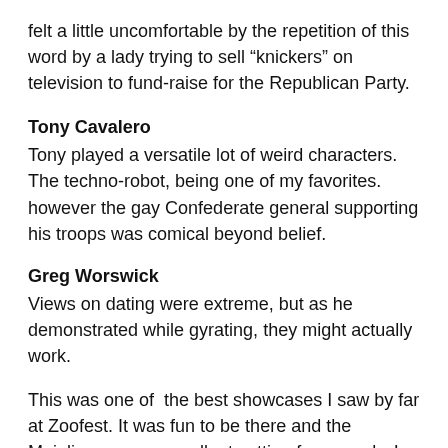felt a little uncomfortable by the repetition of this word by a lady trying to sell “knickers” on television to fundraise for the Republican Party.
Tony Cavalero
Tony played a versatile lot of weird characters. The techno-robot, being one of my favorites. however the gay Confederate general supporting his troops was comical beyond belief.
Greg Worswick
Views on dating were extreme, but as he demonstrated while gyrating, they might actually work.
This was one of  the best showcases I saw by far at Zoofest. It was fun to be there and the Mainline was an excellent setting for comedy. I like how most comics were thrown off guard by facing an audience on three sides which i quite enjoyed as it added intimacy to the